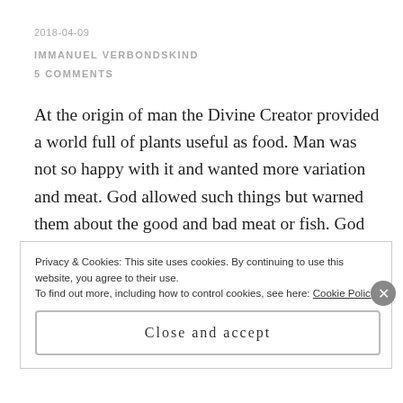2018-04-09
IMMANUEL VERBONDSKIND
5 COMMENTS
At the origin of man the Divine Creator provided a world full of plants useful as food. Man was not so happy with it and wanted more variation and meat. God allowed such things but warned them about the good and bad meat or fish. God also gave man mitzvoth so that they could measure their wrong goings and should have a guide for their life. In his
Privacy & Cookies: This site uses cookies. By continuing to use this website, you agree to their use.
To find out more, including how to control cookies, see here: Cookie Policy
Close and accept